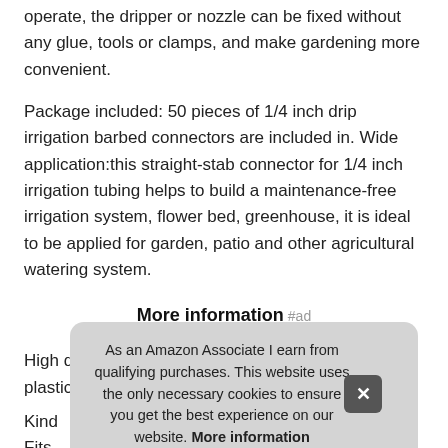operate, the dripper or nozzle can be fixed without any glue, tools or clamps, and make gardening more convenient.
Package included: 50 pieces of 1/4 inch drip irrigation barbed connectors are included in. Wide application:this straight-stab connector for 1/4 inch irrigation tubing helps to build a maintenance-free irrigation system, flower bed, greenhouse, it is ideal to be applied for garden, patio and other agricultural watering system.
More information #ad
High quality: made of high-impact, high-strength plastic mat
Kind Fits with
As an Amazon Associate I earn from qualifying purchases. This website uses the only necessary cookies to ensure you get the best experience on our website. More information